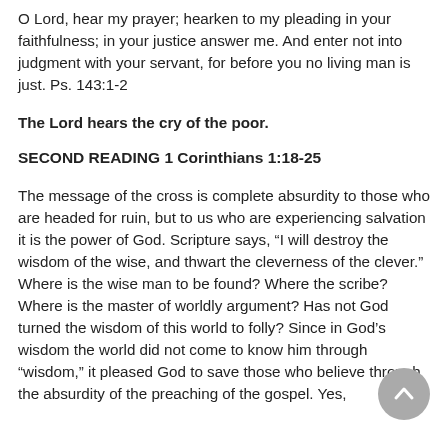O Lord, hear my prayer; hearken to my pleading in your faithfulness; in your justice answer me. And enter not into judgment with your servant, for before you no living man is just. Ps. 143:1-2
The Lord hears the cry of the poor.
SECOND READING 1 Corinthians 1:18-25
The message of the cross is complete absurdity to those who are headed for ruin, but to us who are experiencing salvation it is the power of God. Scripture says, “I will destroy the wisdom of the wise, and thwart the cleverness of the clever.” Where is the wise man to be found? Where the scribe? Where is the master of worldly argument? Has not God turned the wisdom of this world to folly? Since in God’s wisdom the world did not come to know him through “wisdom,” it pleased God to save those who believe through the absurdity of the preaching of the gospel. Yes,